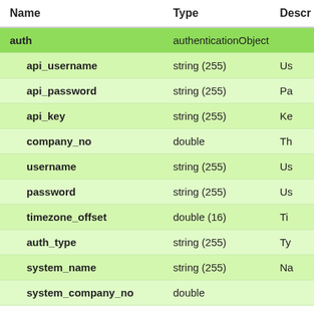| Name | Type | Descr |
| --- | --- | --- |
| auth | authenticationObject |  |
| api_username | string (255) | Us |
| api_password | string (255) | Pa |
| api_key | string (255) | Ke |
| company_no | double | Th |
| username | string (255) | Us |
| password | string (255) | Us |
| timezone_offset | double (16) | Ti |
| auth_type | string (255) | Ty |
| system_name | string (255) | Na |
| system_company_no | double |  |